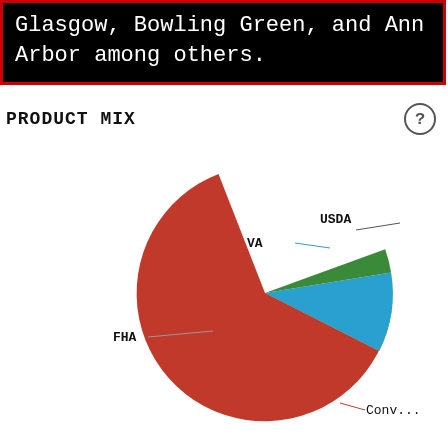Glasgow, Bowling Green, and Ann Arbor among others.
PRODUCT MIX
[Figure (pie-chart): Product Mix]